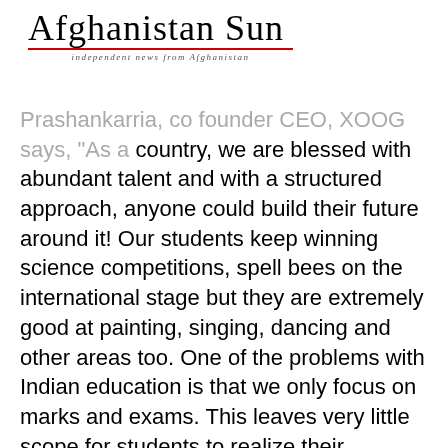Afghanistan Sun — independent news from Afghanistan
Prashankarria, co founder CEO, XOOG says, "As a country, we are blessed with abundant talent and with a structured approach, anyone could build their future around it! Our students keep winning science competitions, spell bees on the international stage but they are extremely good at painting, singing, dancing and other areas too. One of the problems with Indian education is that we only focus on marks and exams. This leaves very little scope for students to realize their potential in other areas. For too long, a student's IQ (intelligence quotient) has been linked to his/her math and verbal skills, which is a skewed and narrow parameter to judge."He further adds, "But with XOOG, we are providing a platform for students to showcase their talent and also enable parents make better decisions for their children's education and skills."Sharing his opinion